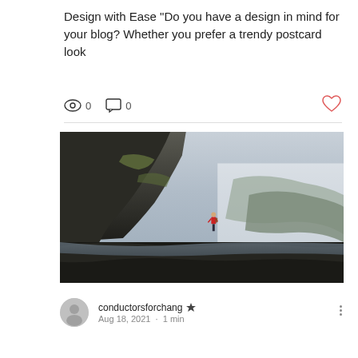Design with Ease “Do you have a design in mind for your blog? Whether you prefer a trendy postcard look
0 views  0 comments  0 likes
[Figure (photo): A person in a red jacket standing on rocky coastal cliffs with misty ocean and dramatic cliff faces in the background]
conductorsforchang  Aug 18, 2021 · 1 min